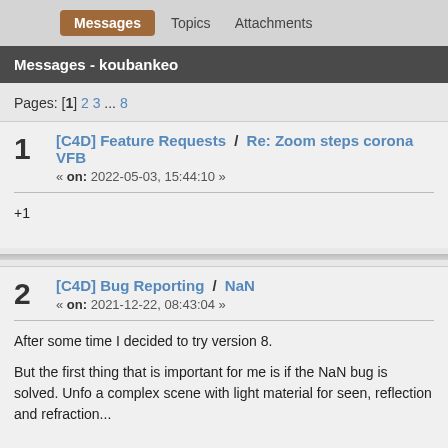Messages  Topics  Attachments
Messages - koubankeo
Pages: [1] 2 3 ... 8
1  [C4D] Feature Requests / Re: Zoom steps corona VFB
« on: 2022-05-03, 15:44:10 »
+1
2  [C4D] Bug Reporting / NaN
« on: 2021-12-22, 08:43:04 »
After some time I decided to try version 8.

But the first thing that is important for me is if the NaN bug is solved. Unfo a complex scene with light material for seen, reflection and refraction...
3  [C4D] Bug Reporting / distance shader